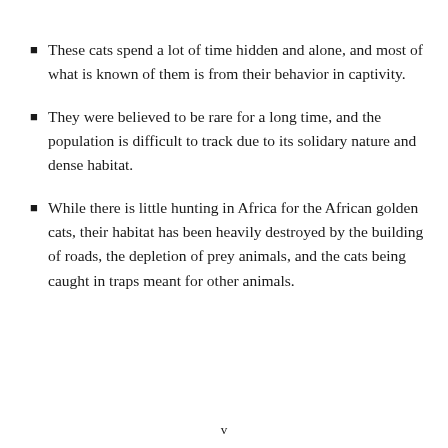These cats spend a lot of time hidden and alone, and most of what is known of them is from their behavior in captivity.
They were believed to be rare for a long time, and the population is difficult to track due to its solidary nature and dense habitat.
While there is little hunting in Africa for the African golden cats, their habitat has been heavily destroyed by the building of roads, the depletion of prey animals, and the cats being caught in traps meant for other animals.
v